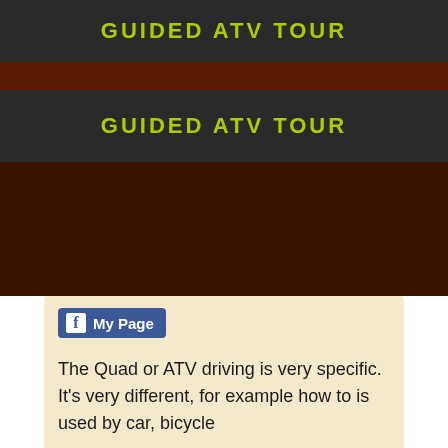GUIDED ATV TOUR
GUIDED ATV TOUR
[Figure (screenshot): Facebook 'My Page' button with blue background and Facebook logo icon]
The Quad or ATV driving is very specific. It's very different, for example how to is used by car, bicycle